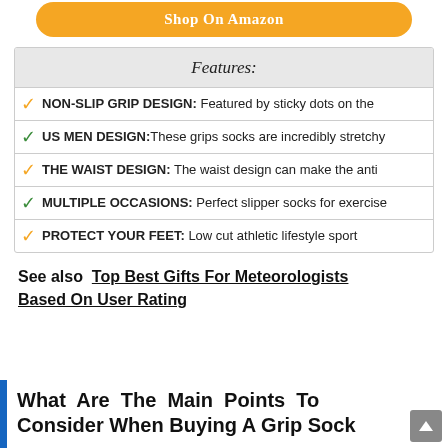Shop On Amazon
| Features: |
| --- |
| ✓ NON-SLIP GRIP DESIGN: Featured by sticky dots on the |
| ✓ US MEN DESIGN:These grips socks are incredibly stretchy |
| ✓ THE WAIST DESIGN: The waist design can make the anti |
| ✓ MULTIPLE OCCASIONS: Perfect slipper socks for exercise |
| ✓ PROTECT YOUR FEET: Low cut athletic lifestyle sport |
See also  Top Best Gifts For Meteorologists Based On User Rating
What Are The Main Points To Consider When Buying A Grip Sock